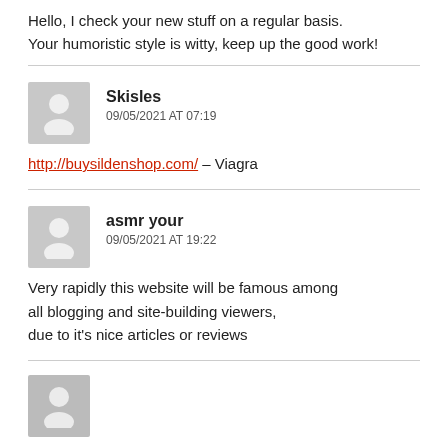Hello, I check your new stuff on a regular basis. Your humoristic style is witty, keep up the good work!
Skisles
09/05/2021 AT 07:19
http://buysildenshop.com/ – Viagra
asmr your
09/05/2021 AT 19:22
Very rapidly this website will be famous among all blogging and site-building viewers, due to it's nice articles or reviews